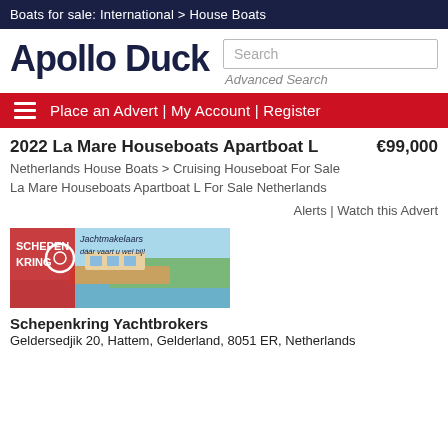Boats for sale: International > House Boats
[Figure (logo): Apollo Duck logo - bold dark navy text]
Search
Advanced Search
Place an Advert | My Account | Register
2022 La Mare Houseboats Apartboat L   €99,000
Netherlands House Boats > Cruising Houseboat For Sale
La Mare Houseboats Apartboat L For Sale Netherlands
Alerts | Watch this Advert
[Figure (photo): Schepenkring Jachtmakelaars advertisement banner showing a houseboat with logo and tagline 'daar vaart u wel bij!']
Schepenkring Yachtbrokers
Geldersedjik 20, Hattem, Gelderland, 8051 ER, Netherlands